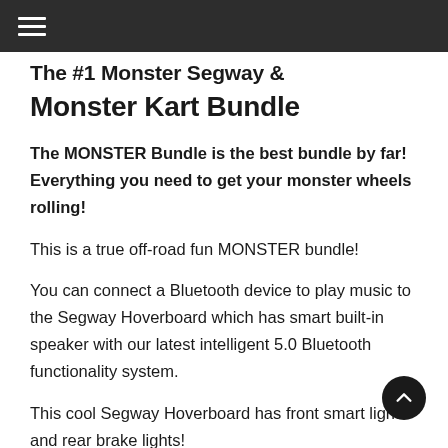≡
The #1 Monster Segway & Monster Kart Bundle
The MONSTER Bundle is the best bundle by far! Everything you need to get your monster wheels rolling!
This is a true off-road fun MONSTER bundle!
You can connect a Bluetooth device to play music to the Segway Hoverboard which has smart built-in speaker with our latest intelligent 5.0 Bluetooth functionality system.
This cool Segway Hoverboard has front smart lights and rear brake lights!